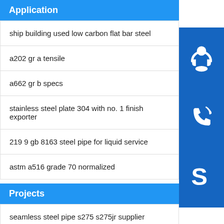Application
ship building used low carbon flat bar steel
a202 gr a tensile
a662 gr b specs
stainless steel plate 304 with no. 1 finish exporter
219 9 gb 8163 steel pipe for liquid service
astm a516 grade 70 normalized
Projects
seamless steel pipe s275 s275jr supplier